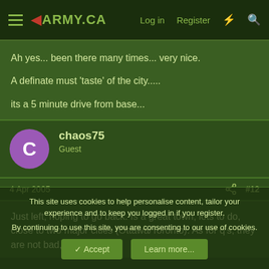ARMY.CA — Log in | Register
Ah yes...  been there many times...  very nice.

A definate must 'taste' of the city.....

its a 5 minute drive from base...
chaos75
Guest
4 Apr 2005  #12
Just left, hoping to go back.  Is a great town, lots to do, close to two major cities (Ottawa/Toronto).  As for q's, they are not bad,
This site uses cookies to help personalise content, tailor your experience and to keep you logged in if you register.
By continuing to use this site, you are consenting to our use of cookies.